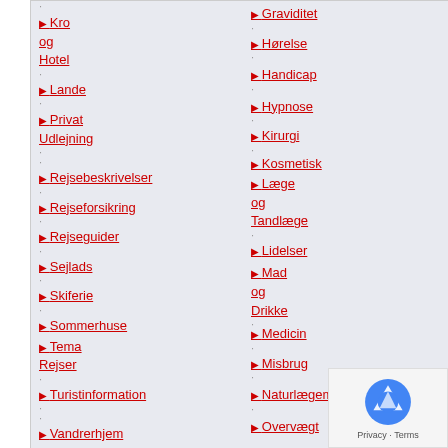Kro og Hotel
Lande
Privat Udlejning
Rejsebeskrivelser
Rejseforsikring
Rejseguider
Sejlads
Skiferie
Sommerhuse
Tema Rejser
Turistinformation
Vandrerhjem
Graviditet
Hørelse
Handicap
Hypnose
Kirurgi
Kosmetisk
Læge og Tandlæge
Lidelser
Mad og Drikke
Medicin
Misbrug
Naturlægemidler
Overvægt